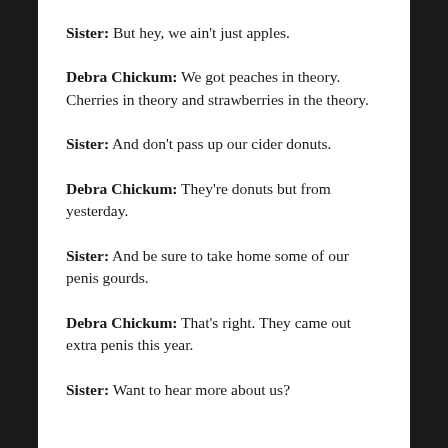Sister: But hey, we ain't just apples.
Debra Chickum: We got peaches in theory. Cherries in theory and strawberries in the theory.
Sister: And don't pass up our cider donuts.
Debra Chickum: They're donuts but from yesterday.
Sister: And be sure to take home some of our penis gourds.
Debra Chickum: That's right. They came out extra penis this year.
Sister: Want to hear more about us?